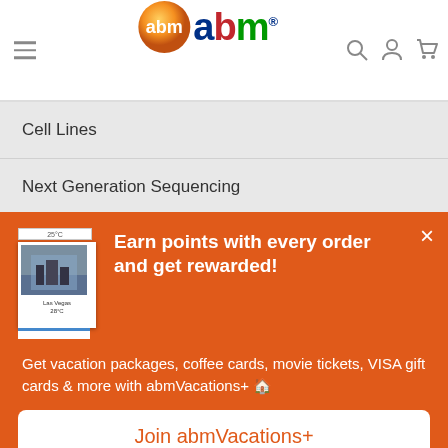[Figure (logo): ABM genomics website header with hamburger menu, ABM logo (ball icon + 'abm' text in blue/red/green), and icons for search, user, cart]
Cell Lines
Next Generation Sequencing
CRISPR
Earn points with every order and get rewarded!
Get vacation packages, coffee cards, movie tickets, VISA gift cards & more with abmVacations+ 🏠
Join abmVacations+